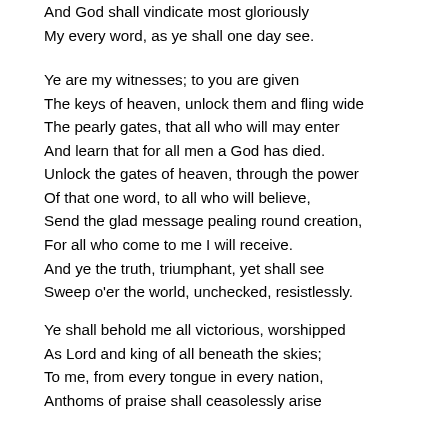And God shall vindicate most gloriously
My every word, as ye shall one day see.
Ye are my witnesses; to you are given
The keys of heaven, unlock them and fling wide
The pearly gates, that all who will may enter
And learn that for all men a God has died.
Unlock the gates of heaven, through the power
Of that one word, to all who will believe,
Send the glad message pealing round creation,
For all who come to me I will receive.
And ye the truth, triumphant, yet shall see
Sweep o'er the world, unchecked, resistlessly.
Ye shall behold me all victorious, worshipped
As Lord and king of all beneath the skies;
To me, from every tongue in every nation,
Anthoms of praise shall ceasolessly arise